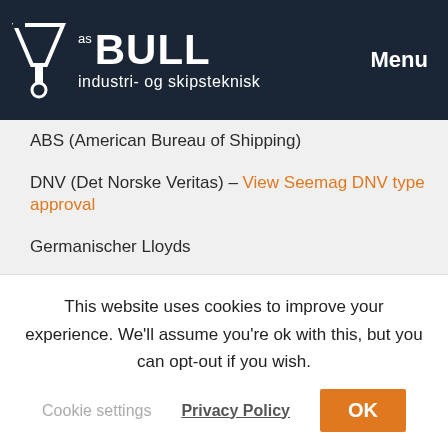as BULL industri- og skipsteknisk | Menu
ABS (American Bureau of Shipping)
DNV (Det Norske Veritas) – View Seemag DNV type approval
Germanischer Lloyds
Lloyds Register
RINA (Italy)
RMRS (Russian Maritime Register of Shipping)
RRR (Russian River Register)
G31 Seeflex Gauge
ABS (American Bureau of Shipping)
This website uses cookies to improve your experience. We'll assume you're ok with this, but you can opt-out if you wish.
Cookie settings | Privacy Policy | OK